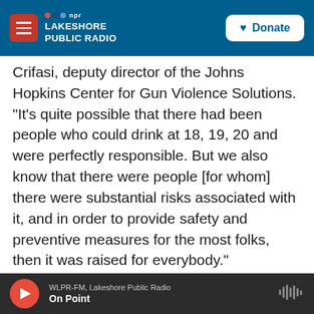NPR - Lakeshore Public Radio | Donate
Crifasi, deputy director of the Johns Hopkins Center for Gun Violence Solutions. "It's quite possible that there had been people who could drink at 18, 19, 20 and were perfectly responsible. But we also know that there were people [for whom] there were substantial risks associated with it, and in order to provide safety and preventive measures for the most folks, then it was raised for everybody."
The same logic can apply to raising the minimum age for firearms, says Crifasi.
WLPR-FM, Lakeshore Public Radio | On Point